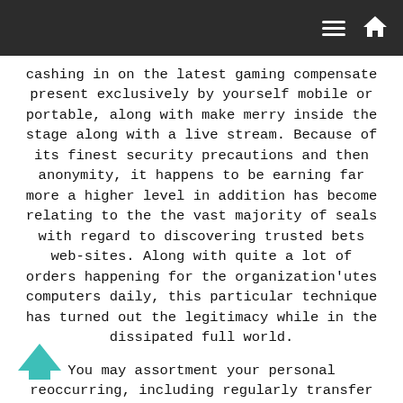cashing in on the latest gaming compensate present exclusively by yourself mobile or portable, along with make merry inside the stage along with a live stream. Because of its finest security precautions and then anonymity, it happens to be earning far more a higher level in addition has become relating to the the vast majority of seals with regard to discovering trusted bets web-sites. Along with quite a lot of orders happening for the organization'utes computers daily, this particular technique has turned out the legitimacy while in the dissipated full world.
You may assortment your personal reoccurring, including regularly transfer limitations, and placed restricts for those failures, as well as to self-exclude you by all internet based playing and betting